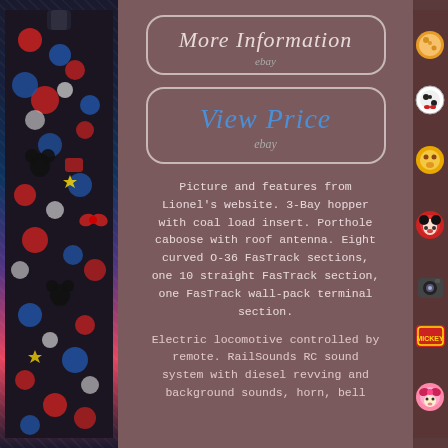[Figure (photo): Left strip showing a Disney-themed tote bag with Mickey Mouse and various Disney character designs in red, white, blue and black. Right strip showing Disney character collector pins.]
[Figure (infographic): More Information button with eBay branding - rounded rectangle border with italic serif text]
[Figure (infographic): View Price button with eBay branding - rounded rectangle border with italic blue serif text]
Picture and features from Lionel's website. 3-Bay hopper with coal load insert. Porthole caboose with roof antenna. Eight curved O-36 FasTrack sections, one 10 straight FasTrack section, one FasTrack wall-pack terminal section.
Electric locomotive controlled by remote. RailSounds RC sound system with diesel revving and background sounds, horn, bell